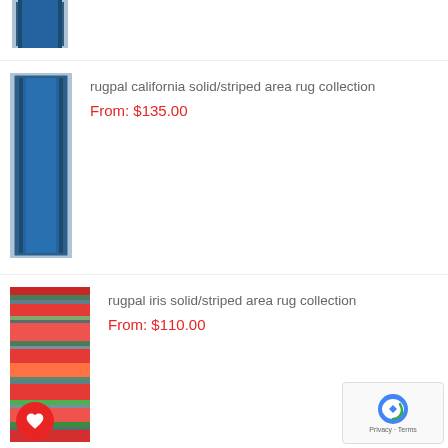[Figure (photo): Partial view of a blue striped area rug runner (cropped at top)]
[Figure (photo): Blue solid/striped area rug runner]
rugpal california solid/striped area rug collection
From: $135.00
[Figure (photo): Colorful striped area rug with red, orange, green stripes]
rugpal iris solid/striped area rug collection
From: $110.00
[Figure (photo): Contemporary area rug with circular medallion pattern on light background]
rugpal ayton contemporary area rug collection
From: $530.00
[Figure (photo): Partial view of contemporary area rug (cropped at bottom)]
rugpal apripdiff contemporary area rug colle...